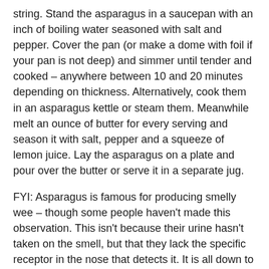string. Stand the asparagus in a saucepan with an inch of boiling water seasoned with salt and pepper. Cover the pan (or make a dome with foil if your pan is not deep) and simmer until tender and cooked – anywhere between 10 and 20 minutes depending on thickness. Alternatively, cook them in an asparagus kettle or steam them. Meanwhile melt an ounce of butter for every serving and season it with salt, pepper and a squeeze of lemon juice. Lay the asparagus on a plate and pour over the butter or serve it in a separate jug.
FYI: Asparagus is famous for producing smelly wee – though some people haven't made this observation. This isn't because their urine hasn't taken on the smell, but that they lack the specific receptor in the nose that detects it. It is all down to one particular recessive allele of a gene – if you have both copies of the allele, you won't be able to smell your sticky asparagus wee – but everyone else will! Nice.
#146 Asparagus with Melted Butter – 9.5/10. This is pretty hard to beat – the bitter-sweet asparagus with the rich salty and tart lemon butter are a marriage made in heaven. I could eat this forever.